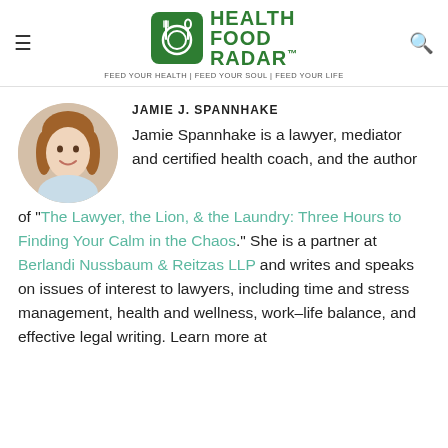Health Food Radar — FEED YOUR HEALTH | FEED YOUR SOUL | FEED YOUR LIFE
JAMIE J. SPANNHAKE
Jamie Spannhake is a lawyer, mediator and certified health coach, and the author of "The Lawyer, the Lion, & the Laundry: Three Hours to Finding Your Calm in the Chaos." She is a partner at Berlandi Nussbaum & Reitzas LLP and writes and speaks on issues of interest to lawyers, including time and stress management, health and wellness, work-life balance, and effective legal writing. Learn more at